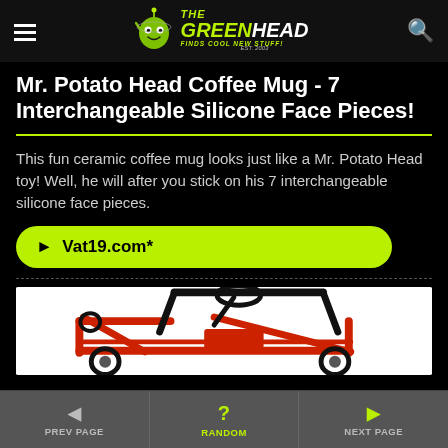The Green Head - Finds Cool New Stuff!
Mr. Potato Head Coffee Mug - 7 Interchangeable Silicone Face Pieces!
This fun ceramic coffee mug looks just like a Mr. Potato Head toy! Well, he will after you stick on his 7 interchangeable silicone face pieces.
► Vat19.com*
[Figure (photo): Partial image of a red go-kart with black steering wheel and roll cage, on white background]
PREV PAGE | RANDOM | NEXT PAGE